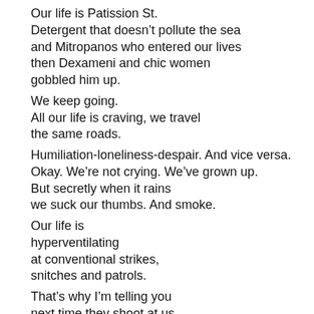Our life is Patission St.
Detergent that doesn't pollute the sea
and Mitropanos who entered our lives
then Dexameni and chic women
gobbled him up.
We keep going.
All our life is craving, we travel
the same roads.
Humiliation-loneliness-despair. And vice versa.
Okay. We're not crying. We've grown up.
But secretly when it rains
we suck our thumbs. And smoke.
Our life is
hyperventilating
at conventional strikes,
snitches and patrols.
That's why I'm telling you
next time they shoot at us
don't run away. Stay in line.